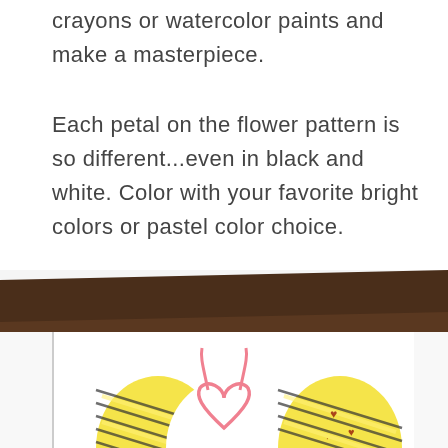crayons or watercolor paints and make a masterpiece.
Each petal on the flower pattern is so different...even in black and white. Color with your favorite bright colors or pastel color choice.
[Figure (photo): Photo showing colored Easter egg decorations on white paper with a dark brown wooden surface visible at the top. Three egg-shaped cutouts are visible: two yellow striped eggs on the sides and a pink bunny/heart design in the center.]